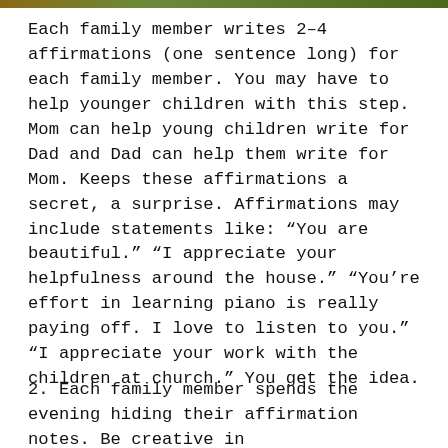[Figure (photo): Top strip showing a photo of people or a family scene, cropped at the top of the page]
Each family member writes 2–4 affirmations (one sentence long) for each family member. You may have to help younger children with this step. Mom can help young children write for Dad and Dad can help them write for Mom. Keeps these affirmations a secret, a surprise. Affirmations may include statements like: “You are beautiful.” “I appreciate your helpfulness around the house.” “You’re effort in learning piano is really paying off. I love to listen to you.” “I appreciate your work with the children at church.” You get the idea.
2. Each family member spends the evening hiding their affirmation notes. Be creative in